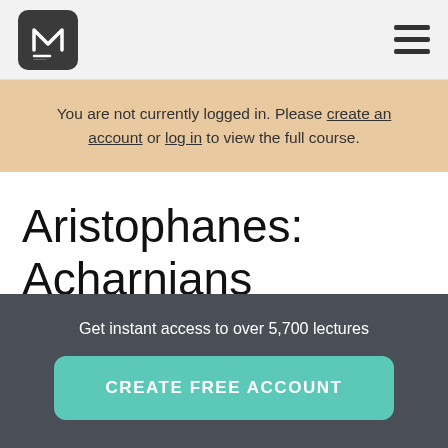M (logo) | hamburger menu
You are not currently logged in. Please create an account or log in to view the full course.
Aristophanes: Acharnians
Get instant access to over 5,700 lectures
CREATE FREE ACCOUNT